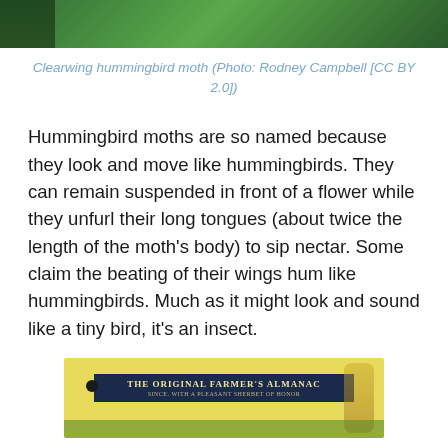[Figure (photo): Top portion of a photo showing green foliage background (clearwing hummingbird moth photo, cropped at top of page)]
Clearwing hummingbird moth (Photo: Rodney Campbell [CC BY 2.0])
Hummingbird moths are so named because they look and move like hummingbirds. They can remain suspended in front of a flower while they unfurl their long tongues (about twice the length of the moth’s body) to sip nectar. Some claim the beating of their wings hum like hummingbirds. Much as it might look and sound like a tiny bird, it’s an insect.
[Figure (photo): Partial view of The Original Farmer's Almanac book cover with yellow background and dark navy title banner reading 'THE ORIGINAL FARMER'S ALMANAC']